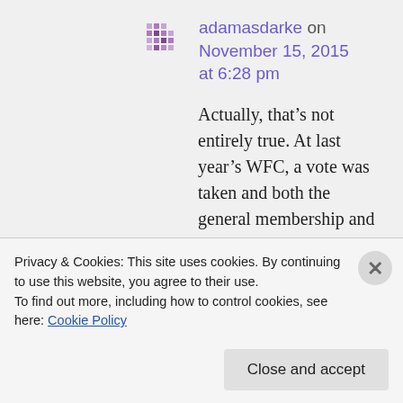[Figure (logo): Purple pixel/dot avatar icon for user adamasdarke]
adamasdarke on November 15, 2015 at 6:28 pm
Actually, that’s not entirely true. At last year’s WFC, a vote was taken and both the general membership and the award committee voted to retain the Lovecraft bust.
Prior to this year’s WFC, the award committee alone voted to change
Privacy & Cookies: This site uses cookies. By continuing to use this website, you agree to their use.
To find out more, including how to control cookies, see here: Cookie Policy
Close and accept